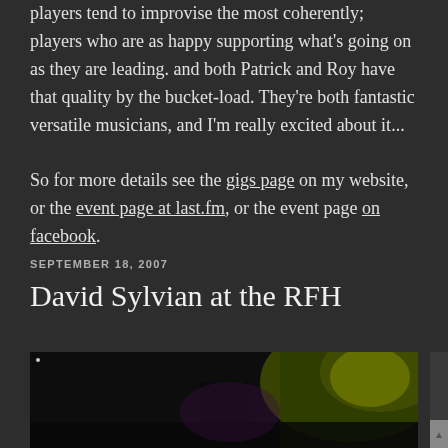players tend to improvise the most coherently; players who are as happy supporting what's going on as they are leading. and both Patrick and Roy have that quality by the bucket-load. They're both fantastic versatile musicians, and I'm really excited about it...
So for more details see the gigs page on my website, or the event page at last.fm, or the event page on facebook.
SEPTEMBER 18, 2007
David Sylvian at the RFH
[Figure (photo): Dark concert photo showing stage lighting in green and yellow tones, partially visible at bottom of page]